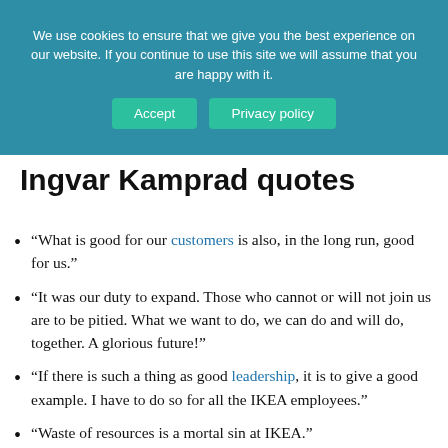We use cookies to ensure that we give you the best experience on our website. If you continue to use this site we will assume that you are happy with it. [Accept] [Privacy policy]
Ingvar Kamprad quotes
“What is good for our customers is also, in the long run, good for us.”
“It was our duty to expand. Those who cannot or will not join us are to be pitied. What we want to do, we can do and will do, together. A glorious future!”
“If there is such a thing as good leadership, it is to give a good example. I have to do so for all the IKEA employees.”
“Waste of resources is a mortal sin at IKEA.”